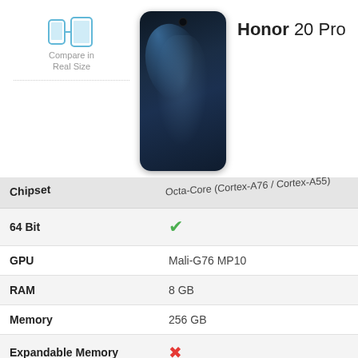[Figure (illustration): Two phone outlines icon with arrows indicating comparison, labeled 'Compare in Real Size']
Compare in Real Size
[Figure (photo): Honor 20 Pro smartphone showing a woman in a blue dress, with a punch-hole front camera]
Honor 20 Pro
| Chipset | Octa-Core (Cortex-A76 / Cortex-A55) |
| --- | --- |
| 64 Bit | ✓ |
| GPU | Mali-G76 MP10 |
| RAM | 8 GB |
| Memory | 256 GB |
| Expandable Memory | ✗ |
DISPLAY